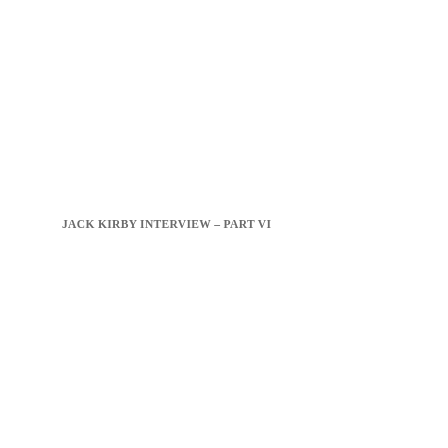JACK KIRBY INTERVIEW – PART VI